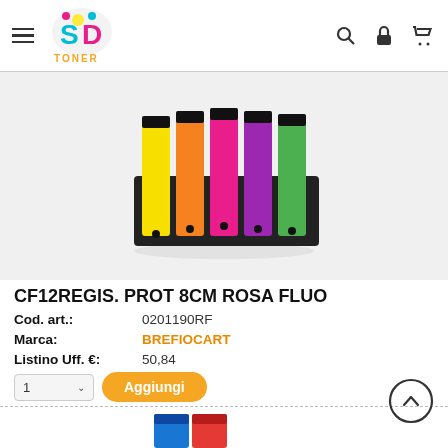SD Toner — navigation header with logo, hamburger menu, search, lock, and cart icons
[Figure (photo): Group of colorful lever arch files/binders (yellow, orange, pink, purple, green) standing upright with black spines, product photo on white background]
CF12REGIS. PROT 8CM ROSA FLUO
Cod. art.: 0201190RF
Marca: BREFIOCART
Listino Uff. €: 50,84
[Figure (photo): Partially visible product photo at bottom: two binders in blue and red/orange colors]